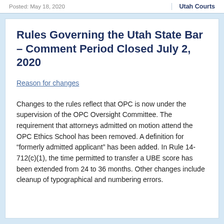Posted: May 18, 2020 | Utah Courts
Rules Governing the Utah State Bar – Comment Period Closed July 2, 2020
Reason for changes
Changes to the rules reflect that OPC is now under the supervision of the OPC Oversight Committee. The requirement that attorneys admitted on motion attend the OPC Ethics School has been removed. A definition for "formerly admitted applicant" has been added. In Rule 14-712(c)(1), the time permitted to transfer a UBE score has been extended from 24 to 36 months. Other changes include cleanup of typographical and numbering errors.